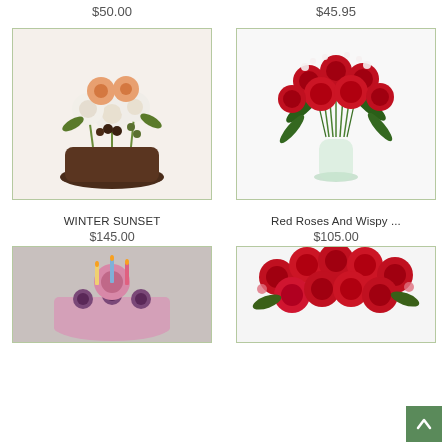$50.00
$45.95
[Figure (photo): Winter Sunset flower arrangement in a dark bowl with white and peach flowers]
[Figure (photo): Red roses and wispy white flowers in a glass vase]
WINTER SUNSET
$145.00
Red Roses And Wispy ...
$105.00
[Figure (photo): Birthday flower cake arrangement with pink rose and candles]
[Figure (photo): Large arrangement of red roses]